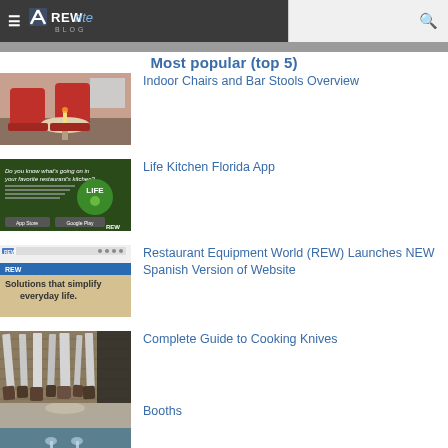REWrite Blog
Most popular (top 5)
Indoor Chairs and Bar Stools Overview
Life Kitchen Florida App
Restaurant Equipment World (REW) Launches NEW Spanish Version of Website
Complete Guide to Cooking Knives
Booths